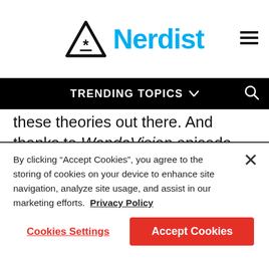Nerdist
TRENDING TOPICS
these theories out there. And thanks to WandaVision episode three, we now know that the creative team has either laid out some very exciting breadcrumbs or that they are enjoying messing with us. If we're right though, Emma Caulfield could become a serious player in the future of the MCU. So who is Arcanna? And why does she matter?
By clicking “Accept Cookies”, you agree to the storing of cookies on your device to enhance site navigation, analyze site usage, and assist in our marketing efforts. Privacy Policy
Cookies Settings
Accept Cookies